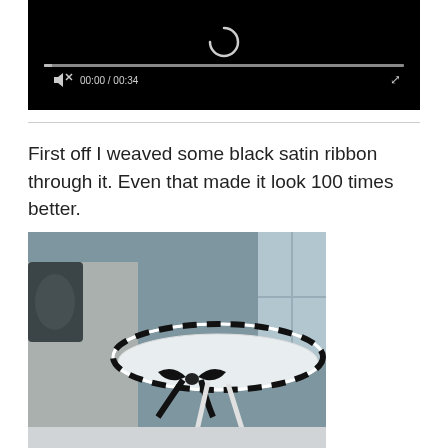[Figure (screenshot): Video player with black background showing a loading spinner, a progress bar, mute button, time display '00:00 / 00:34', and fullscreen button]
First off I weaved some black satin ribbon through it. Even that made it look 100 times better.
[Figure (photo): A white decorative table or tray with chain-link style rim decorated with black satin ribbon woven through and tied in a bow, photographed in a living room setting near a window]